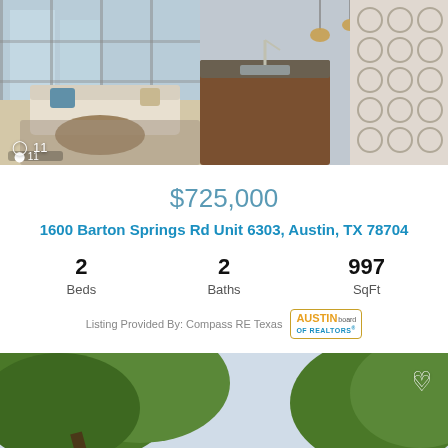[Figure (photo): Interior photo of a modern condo living/kitchen area with large windows, sofa, coffee table, pendant lights, and decorative wallpaper. Camera icon with count 11 in bottom left.]
$725,000
1600 Barton Springs Rd Unit 6303, Austin, TX 78704
2 Beds  2 Baths  997 SqFt
Listing Provided By: Compass RE Texas
[Figure (photo): Exterior photo of a single-family home with large trees in front, gray siding, and a heart/favorite icon in the upper right corner.]